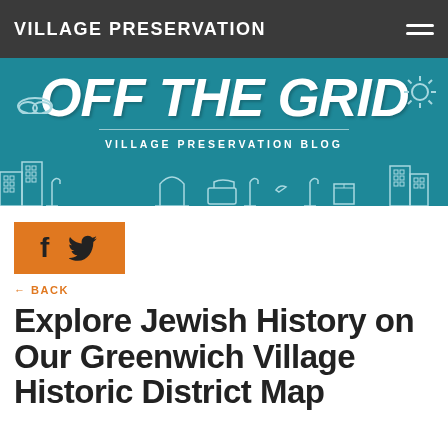VILLAGE PRESERVATION
[Figure (illustration): OFF THE GRID — Village Preservation Blog banner with teal background, decorative cityscape silhouette, clouds, sun, and stylized hand-lettered title.]
[Figure (infographic): Orange social share bar with Facebook 'f' icon and Twitter bird icon.]
← BACK
Explore Jewish History on Our Greenwich Village Historic District Map